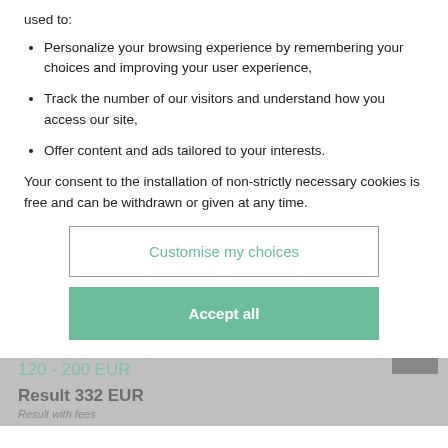Personalize your browsing experience by remembering your choices and improving your user experience,
Track the number of our visitors and understand how you access our site,
Offer content and ads tailored to your interests.
Your consent to the installation of non-strictly necessary cookies is free and can be withdrawn or given at any time.
Customise my choices
Accept all
PAIR OF CABRIOLETS...
Pair of cabriolets armchairs in natural wood Transition....
120 - 200 EUR
Result 332 EUR
Result with fees